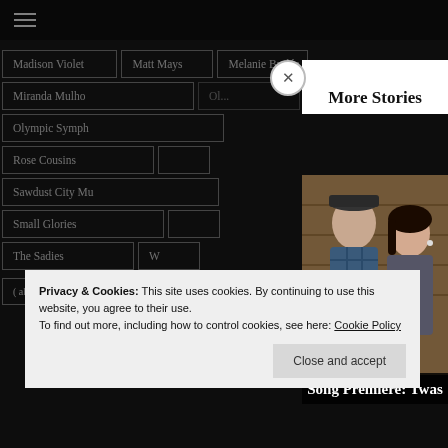☰ (hamburger menu)
Madison Violet
Matt Mays
Melanie Brulée
Miranda Mulho...
Olympic Symph...
Rose Cousins
Sawdust City Mu...
Small Glories
The Sadies
More Stories
[Figure (photo): Two people (a man wearing a dark cap and plaid shirt, and a woman) posed against a wooden wall background]
Privacy & Cookies: This site uses cookies. By continuing to use this website, you agree to their use.
To find out more, including how to control cookies, see here: Cookie Policy
Close and accept
Song Premiere: Twas